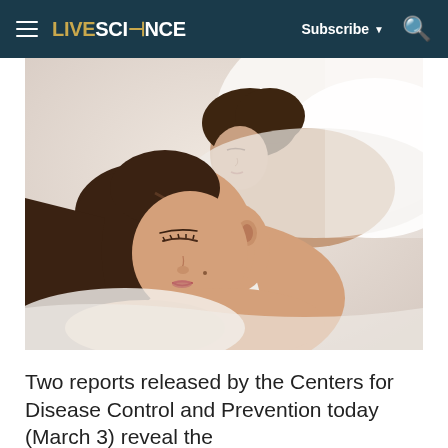LIVESCIENCE  Subscribe  🔍
[Figure (photo): A woman and man sleeping peacefully on white pillows, the woman in the foreground with eyes closed resting on her arms, the man visible in the background, both appearing to sleep comfortably.]
Two reports released by the Centers for Disease Control and Prevention today (March 3) reveal the